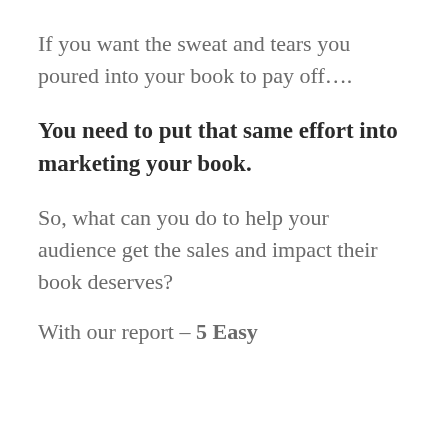If you want the sweat and tears you poured into your book to pay off….
You need to put that same effort into marketing your book.
So, what can you do to help your audience get the sales and impact their book deserves?
With our report – 5 Easy